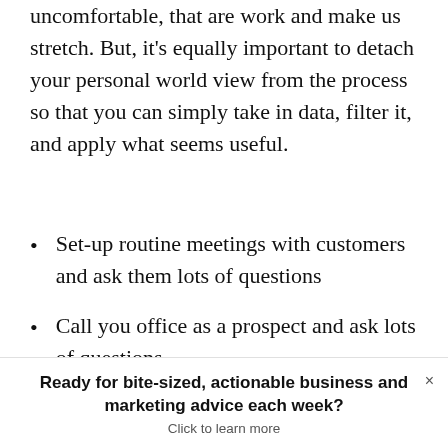uncomfortable, that are work and make us stretch. But, it's equally important to detach your personal world view from the process so that you can simply take in data, filter it, and apply what seems useful.
Set-up routine meetings with customers and ask them lots of questions
Call you office as a prospect and ask lots of questions
Ready for bite-sized, actionable business and marketing advice each week? Click to learn more